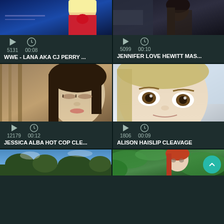[Figure (screenshot): Video thumbnail: blonde woman laughing/screaming at WWE event with blue lighting]
5131   00:08
WWE - LANA AKA CJ PERRY ...
[Figure (screenshot): Video thumbnail: dark-haired woman in profile, dark background]
5099   00:10
JENNIFER LOVE HEWITT MAS...
[Figure (screenshot): Video thumbnail: brunette woman with eyes closed, brown/tan background]
12179   00:12
JESSICA ALBA HOT COP CLE...
[Figure (screenshot): Video thumbnail: blonde woman close-up selfie, light background]
1806   00:09
ALISON HAISLIP CLEAVAGE
[Figure (screenshot): Video thumbnail: outdoor sky and trees]
[Figure (screenshot): Video thumbnail: red-haired woman with green foliage]